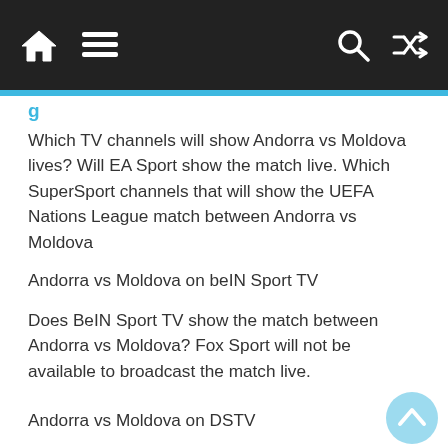Navigation bar with home, menu, search, and shuffle icons
Which TV channels will show Andorra vs Moldova lives? Will EA Sport show the match live. Which SuperSport channels that will show the UEFA Nations League match between Andorra vs Moldova
Andorra vs Moldova on beIN Sport TV
Does BeIN Sport TV show the match between Andorra vs Moldova? Fox Sport will not be available to broadcast the match live.
Andorra vs Moldova on DSTV
The DSTV will show the match? DSTV will show the highlights of the match later today. Fans can connect to SuperSport channels on DSTV to